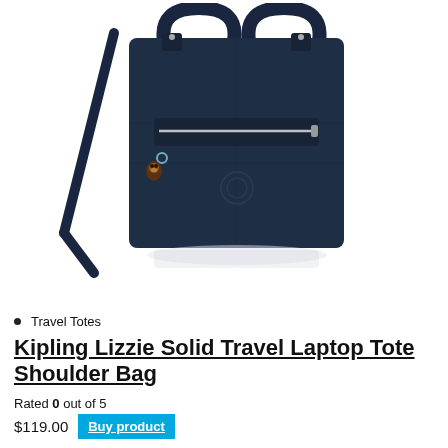[Figure (photo): Navy blue Kipling Lizzie tote bag with shoulder strap, silver zipper front pocket, and monkey keychain charm on white background]
Travel Totes
Kipling Lizzie Solid Travel Laptop Tote Shoulder Bag
Rated 0 out of 5
$119.00  Buy product